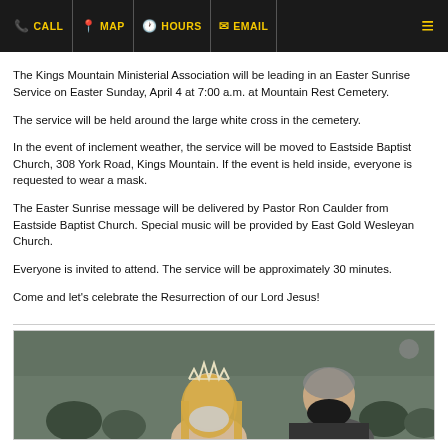CALL | MAP | HOURS | EMAIL
The Kings Mountain Ministerial Association will be leading in an Easter Sunrise Service on Easter Sunday, April 4 at 7:00 a.m. at Mountain Rest Cemetery. The service will be held around the large white cross in the cemetery. In the event of inclement weather, the service will be moved to Eastside Baptist Church, 308 York Road, Kings Mountain.  If the event is held inside, everyone  is requested to wear a mask. The Easter Sunrise message will be delivered by Pastor Ron Caulder from Eastside Baptist Church.  Special music will be provided by East Gold Wesleyan Church. Everyone is invited to attend.  The service will be approximately 30 minutes. Come and let’s celebrate the Resurrection of our Lord Jesus!
[Figure (photo): Photo of a young woman wearing a tiara/crown and a man in a black mask at what appears to be an outdoor event, with other masked people in the background.]